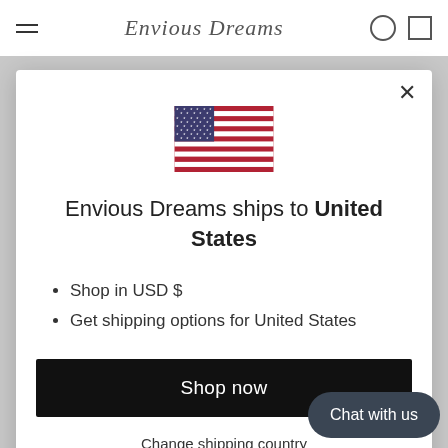[Figure (screenshot): Background website header showing hamburger menu, cursive brand name 'Envious Dreams', search and bag icons on white bar above gray background]
[Figure (illustration): US flag icon centered in modal]
Envious Dreams ships to United States
Shop in USD $
Get shipping options for United States
Shop now
Change shipping country
Chat with us